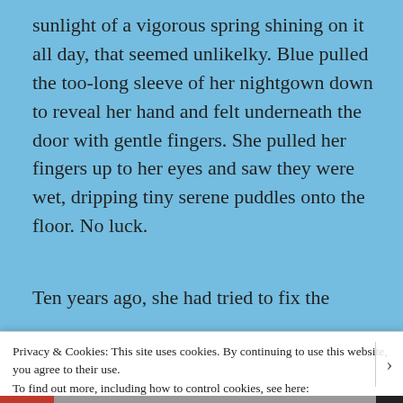sunlight of a vigorous spring shining on it all day, that seemed unlikelky. Blue pulled the too-long sleeve of her nightgown down to reveal her hand and felt underneath the door with gentle fingers. She pulled her fingers up to her eyes and saw they were wet, dripping tiny serene puddles onto the floor. No luck.
Ten years ago, she had tried to fix the
Privacy & Cookies: This site uses cookies. By continuing to use this website, you agree to their use.
To find out more, including how to control cookies, see here: Cookie Policy
Close and accept